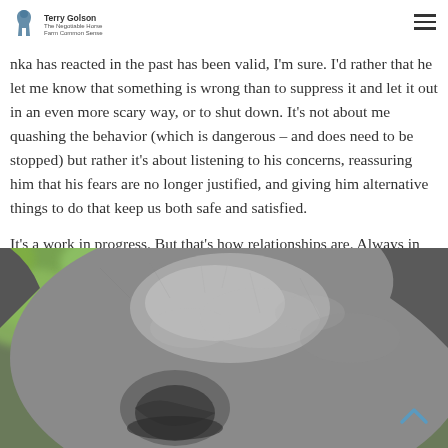Terry Golson – The Negotiable Horse / Farm Common Sense
nka has reacted in the past has been valid, I'm sure. I'd rather that he let me know that something is wrong than to suppress it and let it out in an even more scary way, or to shut down. It's not about me quashing the behavior (which is dangerous – and does need to be stopped) but rather it's about listening to his concerns, reassuring him that his fears are no longer justified, and giving him alternative things to do that keep us both safe and satisfied.
It's a work in progress. But that's how relationships are. Always in progress.
[Figure (photo): Close-up photograph of a horse's forehead and eye area, showing grey/dark fur with textural detail, bokeh green foliage in upper left background.]